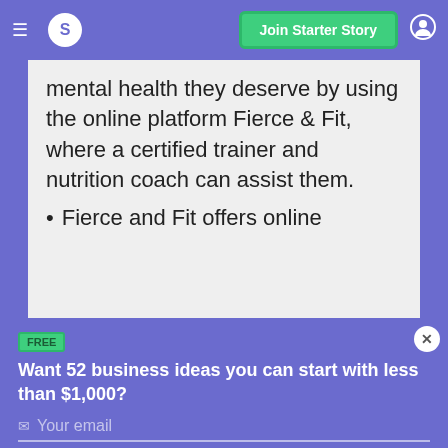S  Join Starter Story
mental health they deserve by using the online platform Fierce & Fit, where a certified trainer and nutrition coach can assist them.
Fierce and Fit offers online
FREE
Want 52 business ideas you can start with less than $1,000?
Your email
Send Now